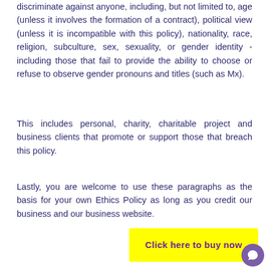discriminate against anyone, including, but not limited to, age (unless it involves the formation of a contract), political view (unless it is incompatible with this policy), nationality, race, religion, subculture, sex, sexuality, or gender identity - including those that fail to provide the ability to choose or refuse to observe gender pronouns and titles (such as Mx).
This includes personal, charity, charitable project and business clients that promote or support those that breach this policy.
Lastly, you are welcome to use these paragraphs as the basis for your own Ethics Policy as long as you credit our business and our business website.
[Figure (other): Yellow button with purple bold text reading 'Click here to buy now', with a purple circular chat bubble icon overlapping the right edge]